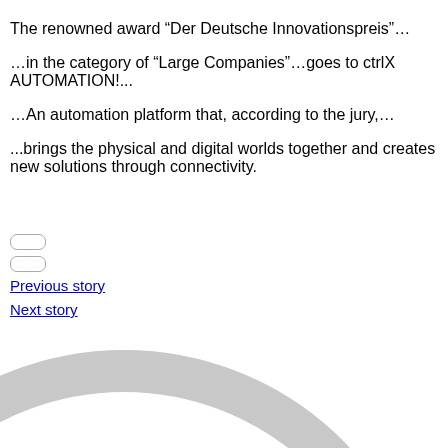The renowned award “Der Deutsche Innovationspreis”… …in the category of “Large Companies”…goes to ctrlX AUTOMATION!... …An automation platform that, according to the jury,… ...brings the physical and digital worlds together and creates new solutions through connectivity.
[Figure (infographic): A large partial donut/ring chart (arc) visible at the bottom of the page. The ring is mostly light gray with a dark gray segment on the upper right, a red rectangle marker on the upper right portion, and a cyan/blue segment on the lower left. The full circle extends beyond the page boundaries.]
Previous story
Next story